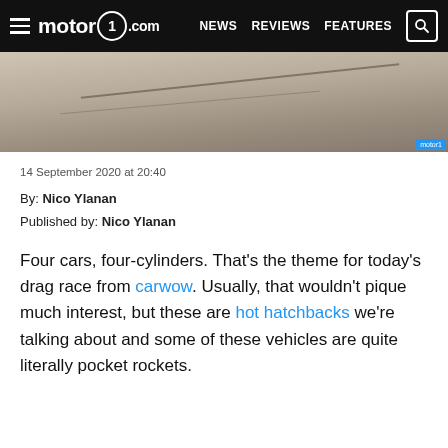motor1.com  NEWS  REVIEWS  FEATURES
[Figure (photo): Top-down view of a racing track surface with road markings, grey/brown asphalt texture]
14 September 2020 at 20:40
By: Nico Ylanan
Published by: Nico Ylanan
Four cars, four-cylinders. That's the theme for today's drag race from carwow. Usually, that wouldn't pique much interest, but these are hot hatchbacks we're talking about and some of these vehicles are quite literally pocket rockets.